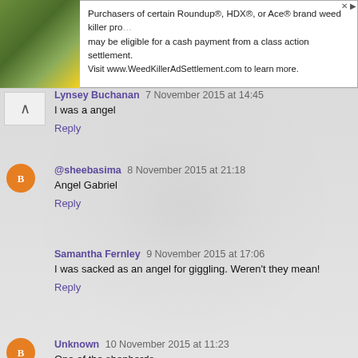[Figure (screenshot): Advertisement banner: Purchasers of certain Roundup, HDX, or Ace brand weed killer products may be eligible for a cash payment from a class action settlement. Visit www.WeedKillerAdSettlement.com to learn more. Shows plant/flower image on left.]
Lynsey Buchanan  7 November 2015 at 14:45
I was a angel
Reply
@sheebasima  8 November 2015 at 21:18
Angel Gabriel
Reply
Samantha Fernley  9 November 2015 at 17:06
I was sacked as an angel for giggling. Weren't they mean!
Reply
Unknown  10 November 2015 at 11:23
One of the shepherds